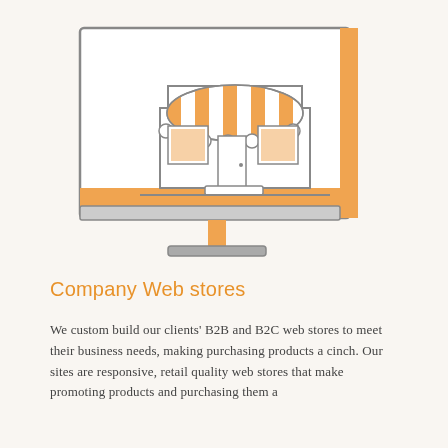[Figure (illustration): A monitor/computer screen icon displaying a market stall or shop front with a striped awning (orange and white stripes), store windows, and a door. The monitor has an orange accent panel on the right side and bottom bar. Below the screen is a monitor stand with an orange accent. The background of the illustration area is white with a light gray border rectangle.]
Company Web stores
We custom build our clients' B2B and B2C web stores to meet their business needs, making purchasing products a cinch. Our sites are responsive, retail quality web stores that make promoting products and purchasing them a